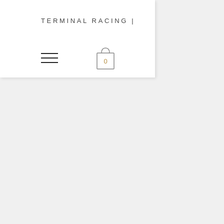TERMINAL RACING |
[Figure (illustration): Hamburger menu icon (three horizontal lines) and shopping bag/cart icon showing count 0]